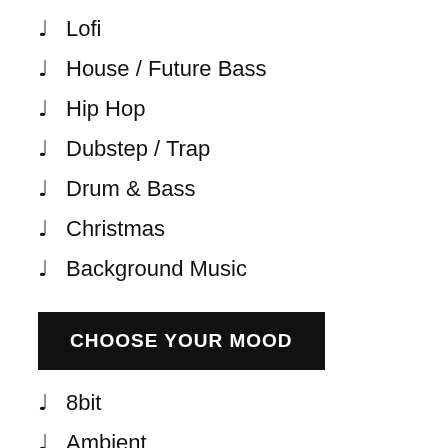♩ Lofi
♩ House / Future Bass
♩ Hip Hop
♩ Dubstep / Trap
♩ Drum & Bass
♩ Christmas
♩ Background Music
CHOOSE YOUR MOOD
♩ 8bit
♩ Ambient
♩ Assamese